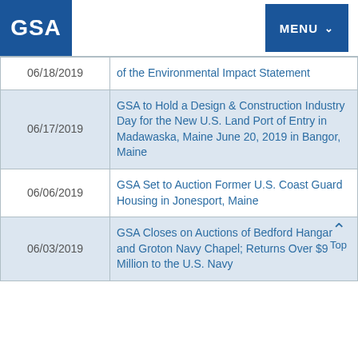GSA | MENU
| Date | Title |
| --- | --- |
| 06/18/2019 | of the Environmental Impact Statement |
| 06/17/2019 | GSA to Hold a Design & Construction Industry Day for the New U.S. Land Port of Entry in Madawaska, Maine June 20, 2019 in Bangor, Maine |
| 06/06/2019 | GSA Set to Auction Former U.S. Coast Guard Housing in Jonesport, Maine |
| 06/03/2019 | GSA Closes on Auctions of Bedford Hangar and Groton Navy Chapel; Returns Over $9 Million to the U.S. Navy |